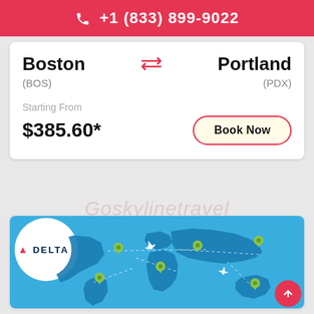+1 (833) 899-9022
Boston (BOS) ⇄ Portland (PDX)
Starting From
$385.60*
Book Now
Goskylinetravel
[Figure (map): Delta Airlines branded world map with airplane icons and green location pins connected by dotted routes on a blue background]